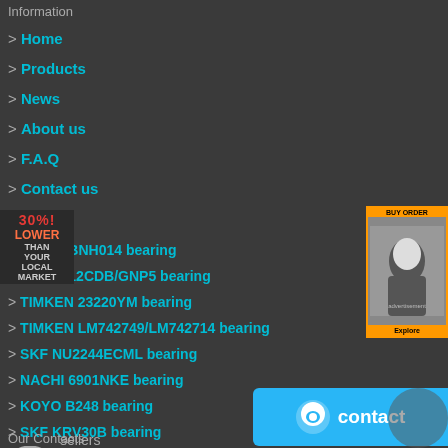Information
> Home
> Products
> News
> About us
> F.A.Q
> Contact us
[Figure (infographic): Promo banner: 30% LOWER THAN YOUR LOCAL MARKET]
[Figure (photo): Advertisement banner with woman face image]
[Figure (illustration): Bearing icon/logo circular]
sellers
> NACHI BNH014 bearing
> NTN 7012CDB/GNP5 bearing
> TIMKEN 23220YM bearing
> TIMKEN LM742749/LM742714 bearing
> SKF NU2244ECML bearing
> NACHI 6901NKE bearing
> KOYO B248 bearing
> SKF KRV30B bearing
Our Contacts
[Figure (infographic): Contact button with chat icon]